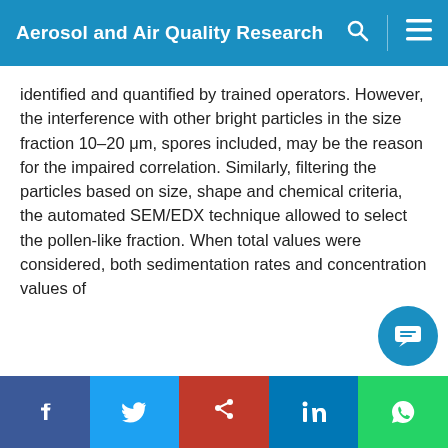Aerosol and Air Quality Research
identified and quantified by trained operators. However, the interference with other bright particles in the size fraction 10–20 μm, spores included, may be the reason for the impaired correlation. Similarly, filtering the particles based on size, shape and chemical criteria, the automated SEM/EDX technique allowed to select the pollen-like fraction. When total values were considered, both sedimentation rates and concentration values of
Aerosol and Air Quality Research (AAQR) is an independently-run non-profit journal that promotes submissions of high-quality research and strives to be one of the leading aerosol and air quality open-access journals in the world. We use cookies on this website to personalize content to improve your user experience and analyze our traffic. By using this site you agree to its use of cookies.